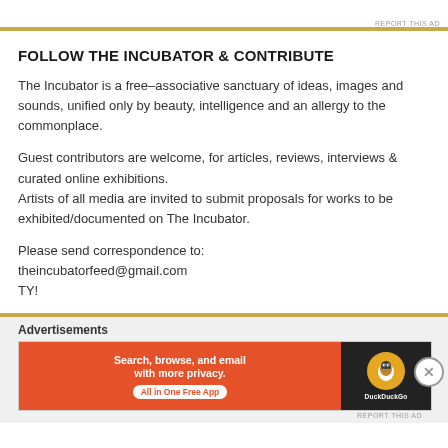[Figure (illustration): Partial image at top of page, appears to be a decorative element or logo]
REPORT THIS AD
FOLLOW THE INCUBATOR & CONTRIBUTE
The Incubator is a free–associative sanctuary of ideas, images and sounds, unified only by beauty, intelligence and an allergy to the commonplace.
Guest contributors are welcome, for articles, reviews, interviews & curated online exhibitions.
Artists of all media are invited to submit proposals for works to be exhibited/documented on The Incubator.
Please send correspondence to:
theincubatorfeed@gmail.com
TY!
Advertisements
[Figure (screenshot): DuckDuckGo advertisement banner: 'Search, browse, and email with more privacy. All in One Free App' with DuckDuckGo logo on dark background]
REPORT THIS AD